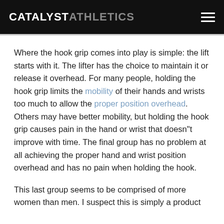CATALYST ATHLETICS
Where the hook grip comes into play is simple: the lift starts with it. The lifter has the choice to maintain it or release it overhead. For many people, holding the hook grip limits the mobility of their hands and wrists too much to allow the proper position overhead. Others may have better mobility, but holding the hook grip causes pain in the hand or wrist that doesn"t improve with time. The final group has no problem at all achieving the proper hand and wrist position overhead and has no pain when holding the hook.
This last group seems to be comprised of more women than men. I suspect this is simply a product